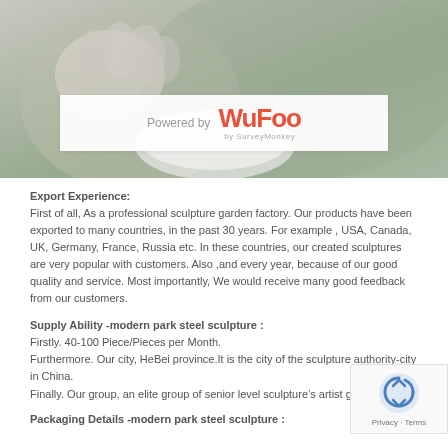[Figure (photo): Hero image showing hands holding a white cup/bowl against a blurred green-gray background]
[Figure (logo): Powered by Wufoo by SurveyMonkey logo on white bar]
Export Experience:
First of all, As a professional sculpture garden factory. Our products have been exported to many countries, in the past 30 years. For example , USA, Canada, UK, Germany, France, Russia etc. In these countries, our created sculptures are very popular with customers. Also ,and every year, because of our good quality and service. Most importantly, We would receive many good feedback from our customers.
Supply Ability -modern park steel sculpture :
Firstly. 40-100 Piece/Pieces per Month.
Furthermore. Our city, HeBei province.It is the city of the sculpture authority-city in China.
Finally. Our group, an elite group of senior level sculpture’s artist group.
Packaging Details -modern park steel sculpture :